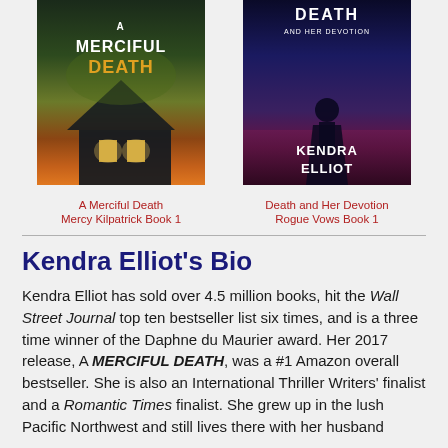[Figure (illustration): Book cover for 'A Merciful Death' showing a dark house at night with glowing windows and golden/orange title text]
A Merciful Death
Mercy Kilpatrick Book 1
[Figure (illustration): Book cover for 'Death and Her Devotion' by Kendra Elliot showing a dark atmospheric landscape with title at top and author name in white]
Death and Her Devotion
Rogue Vows Book 1
Kendra Elliot's Bio
Kendra Elliot has sold over 4.5 million books, hit the Wall Street Journal top ten bestseller list six times, and is a three time winner of the Daphne du Maurier award. Her 2017 release, A MERCIFUL DEATH, was a #1 Amazon overall bestseller. She is also an International Thriller Writers' finalist and a Romantic Times finalist. She grew up in the lush Pacific Northwest and still lives there with her husband